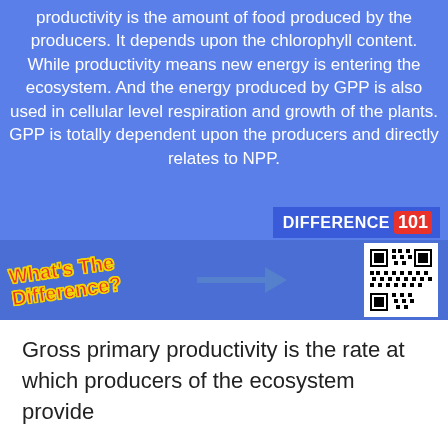productivity is the amount of food produced by the producers. It depends upon the chlorophyll content. While productivity means new energy is entering the ecosystem. And the energy produced by GPP is also used in cellular level respiration and growth of the plants. GPP is totally dependent upon the producers and directly relates to NPP.
[Figure (infographic): Bottom banner with 'What's The Difference?' text in red with yellow outline, a right-pointing arrow, and a QR code on the right. 'DIFFERENCE 101 .com' logo in upper right.]
Gross primary productivity is the rate at which producers of the ecosystem provide